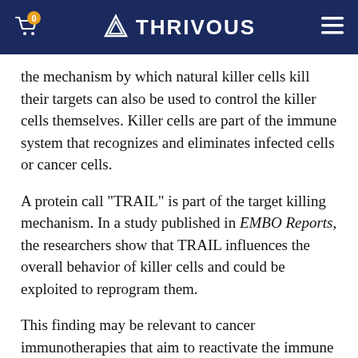THRIVOUS
the mechanism by which natural killer cells kill their targets can also be used to control the killer cells themselves. Killer cells are part of the immune system that recognizes and eliminates infected cells or cancer cells.
A protein call "TRAIL" is part of the target killing mechanism. In a study published in EMBO Reports, the researchers show that TRAIL influences the overall behavior of killer cells and could be exploited to reprogram them.
This finding may be relevant to cancer immunotherapies that aim to reactivate the immune system in order to remove tumor cells.